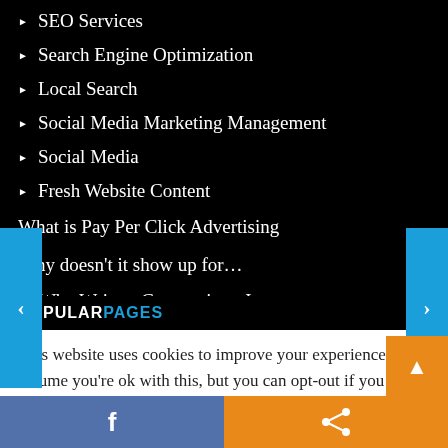SEO Services
Search Engine Optimization
Local Search
Social Media Marketing Management
Social Media
Fresh Website Content
What is Pay Per Click Advertising
Why doesn't it show up for…
Why Written Content is so Important
POPULAR PAGES
This website uses cookies to improve your experience. We'll assume you're ok with this, but you can opt-out if you wish.